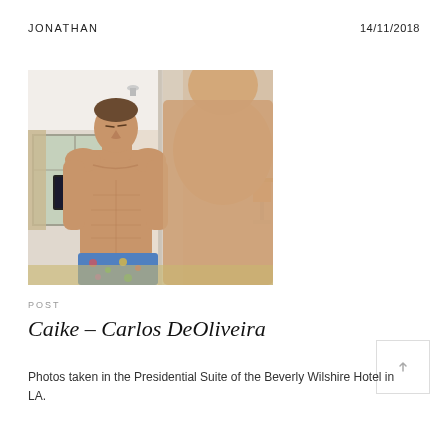JONATHAN    14/11/2018
[Figure (photo): A muscular shirtless man standing in a hotel room, reflected in a mirror. He wears floral swim shorts. The room has warm lighting, curtains, a TV, and a lamp. Another person is partially visible in the foreground right.]
POST
Caike – Carlos DeOliveira
Photos taken in the Presidential Suite of the Beverly Wilshire Hotel in LA.